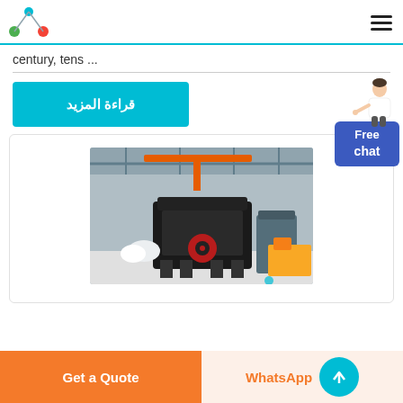Logo and navigation header with hamburger menu
century, tens ...
[Figure (photo): Industrial impact crusher / heavy mining machine on factory floor with overhead cranes and warehouse structure visible in background]
قراءة المزيد
Free chat
Get a Quote | WhatsApp